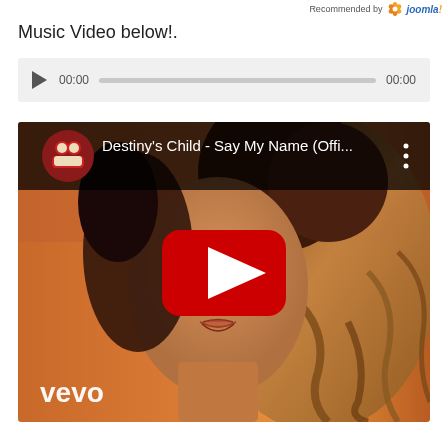Recommended by Joomla
Music Video below!.
[Figure (screenshot): Audio player widget with play button, 00:00 start time, gray progress bar, and 00:00 end time on a light gray background]
[Figure (screenshot): YouTube video thumbnail for Destiny's Child - Say My Name (Offi... showing a woman with curly hair against an orange background, with YouTube play button overlay, vevo watermark, and video title bar at top with circular channel icon]